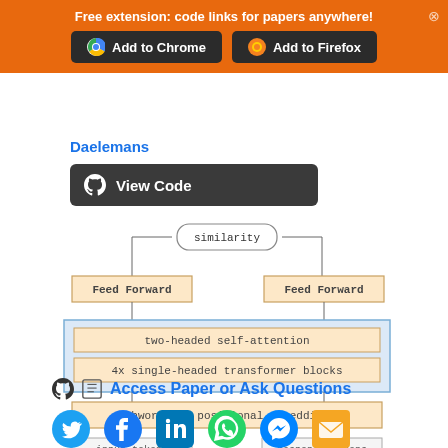Free extension: code links for papers anywhere!
Add to Chrome | Add to Firefox
Daelemans
View Code
[Figure (flowchart): Neural network architecture diagram showing: similarity box at top, two Feed Forward boxes below connected by lines, then a blue-bordered block containing 'two-headed self-attention' and '4x single-headed transformer blocks', then 'subword and positional embeddings', then two boxes at bottom: 'input tokens' and 'response tokens']
Access Paper or Ask Questions
Social media sharing icons: Twitter, Facebook, LinkedIn, WhatsApp, Messenger, Email